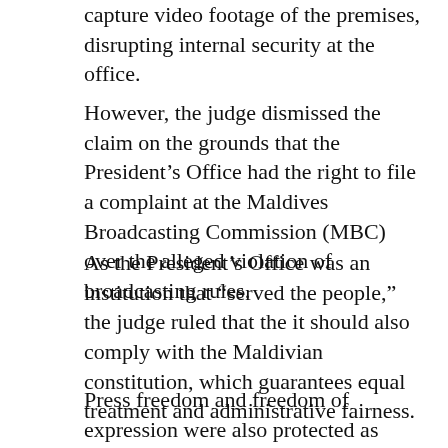capture video footage of the premises, disrupting internal security at the office.
However, the judge dismissed the claim on the grounds that the President’s Office had the right to file a complaint at the Maldives Broadcasting Commission (MBC) over the alleged violation of broadcasting rules.
As the President’s Office was an institution that “served the people,” the judge ruled that the it should also comply with the Maldivian constitution, which guarantees equal treatment and administrative fairness.
Press freedom and freedom of expression were also protected as fundamental rights in the constitution, the judge noted.